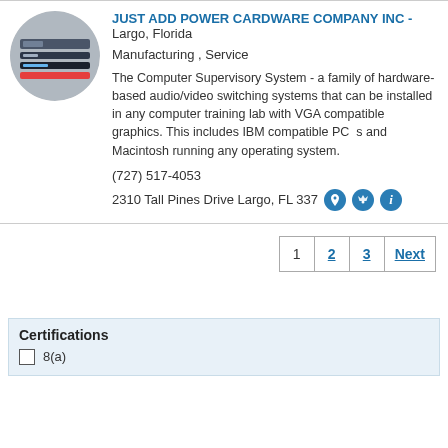[Figure (photo): Circular thumbnail photo of stacked computer/AV switching hardware devices]
JUST ADD POWER CARDWARE COMPANY INC - Largo, Florida
Manufacturing , Service
The Computer Supervisory System - a family of hardware-based audio/video switching systems that can be installed in any computer training lab with VGA compatible graphics. This includes IBM compatible PC  s and Macintosh running any operating system.
(727) 517-4053
2310 Tall Pines Drive Largo, FL 337
1  2  3  Next
Certifications
8(a)